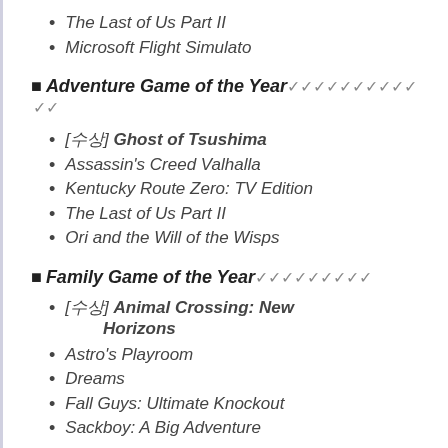The Last of Us Part II
Microsoft Flight Simulato
Adventure Game of the Year
[수상] Ghost of Tsushima
Assassin's Creed Valhalla
Kentucky Route Zero: TV Edition
The Last of Us Part II
Ori and the Will of the Wisps
Family Game of the Year
[수상] Animal Crossing: New Horizons
Astro's Playroom
Dreams
Fall Guys: Ultimate Knockout
Sackboy: A Big Adventure